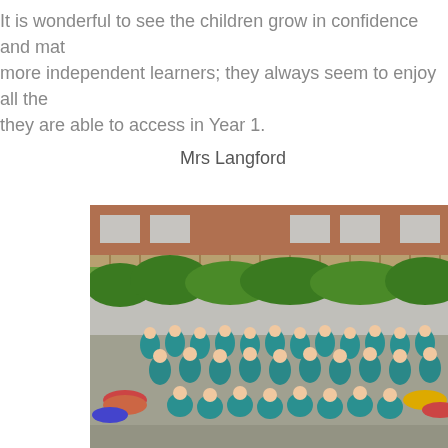It is wonderful to see the children grow in confidence and mature into more independent learners; they always seem to enjoy all the activities they are able to access in Year 1.
Mrs Langford
[Figure (photo): Group photo of school children in teal/turquoise uniforms sitting and standing in a school playground, with a brick building, wooden fence and green hedges in the background.]